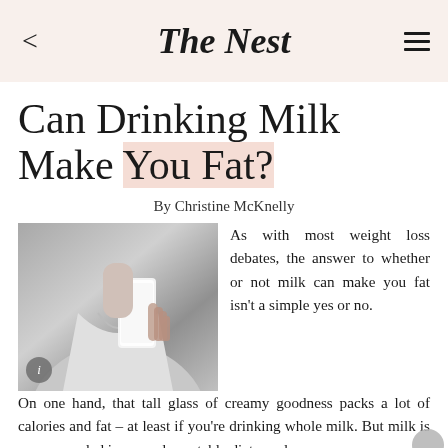The Nest
Can Drinking Milk Make You Fat?
By Christine McKnelly
[Figure (photo): Black and white photo of a person holding a glass of milk]
As with most weight loss debates, the answer to whether or not milk can make you fat isn't a simple yes or no. On one hand, that tall glass of creamy goodness packs a lot of calories and fat – at least if you're drinking whole milk. But milk is recommended in several reputable dietary plans